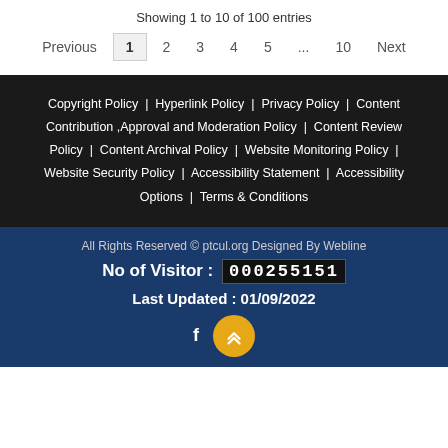Showing 1 to 10 of 100 entries
Previous  1  2  3  4  5  ...  10  Next
Copyright Policy | Hyperlink Policy | Privacy Policy | Content Contribution ,Approval and Moderation Policy | Content Review Policy | Content Archival Policy | Website Monitoring Policy | Website Security Policy | Accessibility Statement | Accessibility Options | Terms & Conditions
All Rights Reserved © ptcul.org Designed By Webline
No of Visitor : 000255151
Last Updated : 01/09/2022